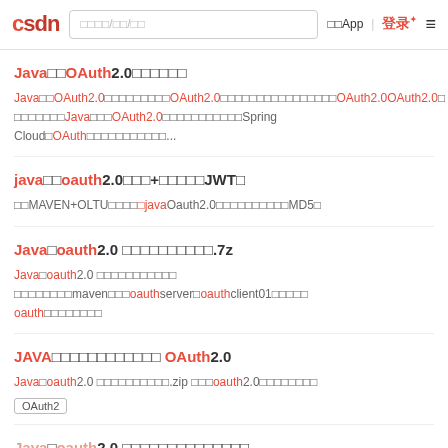CSDN  搜索/社区/发现  下载App | 登录 ≡
Java实现OAuth2.0的资源下载
Java实现OAuth2.0，详细介绍了OAuth2.0的四种授权方式，以及如何在Java中实现OAuth2.0OAuth2.0，并通过Java实现了OAuth2.0的Token认证，包括Spring Cloud OAuth的集成方式...
java实现oauth2.0认证+整合框架JWT框
采用MAVEN+OLTU框架实现java Oauth2.0认证，密码采用MD5加
Java实oauth2.0 源码工程打包文件.7z
Java实oauth2.0 源码工程打包文件 采用标准maven搭建oauthserveroauthclient01两个模块oauth相关代码注释
JAVA实现基于令牌的 OAuth2.0
Java实oauth2.0 项目工程压缩包.zip 实现oauth2.0授权认证功能
OAuth2
Java实oauth2.0 令牌认证源码工程文件